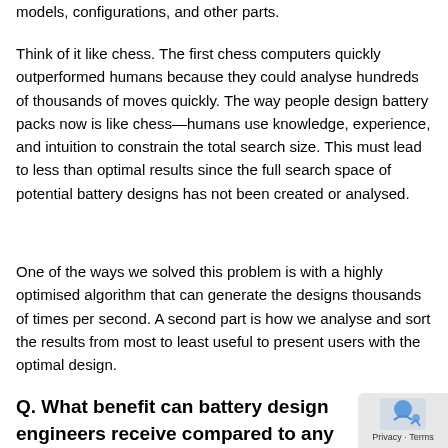models, configurations, and other parts.
Think of it like chess. The first chess computers quickly outperformed humans because they could analyse hundreds of thousands of moves quickly. The way people design battery packs now is like chess—humans use knowledge, experience, and intuition to constrain the total search size. This must lead to less than optimal results since the full search space of potential battery designs has not been created or analysed.
One of the ways we solved this problem is with a highly optimised algorithm that can generate the designs thousands of times per second. A second part is how we analyse and sort the results from most to least useful to present users with the optimal design.
Q. What benefit can battery design engineers receive compared to any